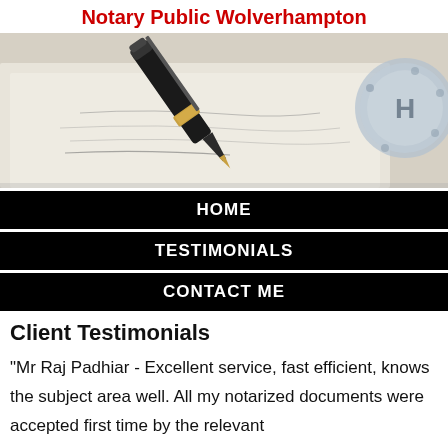Notary Public Wolverhampton
[Figure (photo): Close-up photo of a fountain pen writing on a document, with a notary seal visible on the right side.]
HOME
TESTIMONIALS
CONTACT ME
Client Testimonials
"Mr Raj Padhiar - Excellent service, fast efficient, knows the subject area well. All my notarized documents were accepted first time by the relevant